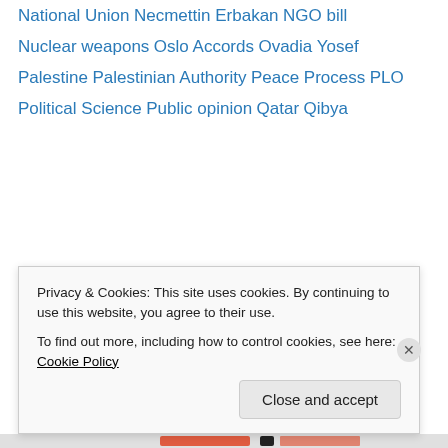National Union
Necmettin Erbakan
NGO bill
Nuclear weapons
Oslo Accords
Ovadia Yosef
Palestine
Palestinian Authority
Peace Process
PLO
Political Science
Public opinion
Qatar
Qibya
Privacy & Cookies: This site uses cookies. By continuing to use this website, you agree to their use.
To find out more, including how to control cookies, see here: Cookie Policy